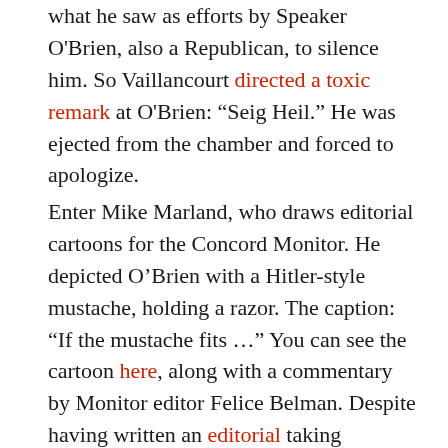what he saw as efforts by Speaker O'Brien, also a Republican, to silence him. So Vaillancourt directed a toxic remark at O'Brien: “Seig Heil.” He was ejected from the chamber and forced to apologize.
Enter Mike Marland, who draws editorial cartoons for the Concord Monitor. He depicted O’Brien with a Hitler-style mustache, holding a razor. The caption: “If the mustache fits …” You can see the cartoon here, along with a commentary by Monitor editor Felice Belman. Despite having written an editorial taking Vaillancourt to task for his Third Reich-style outburst, Belman defended Marland’s cartoon in defiance of Republican demands that the paper apologize: